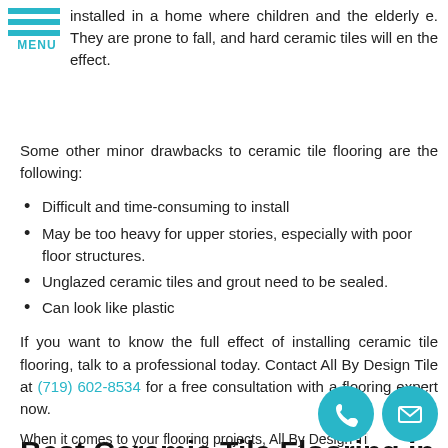[Figure (other): Menu icon with three teal horizontal bars and MENU label]
installed in a home where children and the elderly e. They are prone to fall, and hard ceramic tiles will en the effect.
Some other minor drawbacks to ceramic tile flooring are the following:
Difficult and time-consuming to install
May be too heavy for upper stories, especially with poor floor structures.
Unglazed ceramic tiles and grout need to be sealed.
Can look like plastic
If you want to know the full effect of installing ceramic tile flooring, talk to a professional today. Contact All By Design Tile at (719) 602-8534 for a free consultation with a flooring expert now.
Best Ceramic Tile Flooring in Kiowa
When it comes to your flooring projects, All By Design Tile